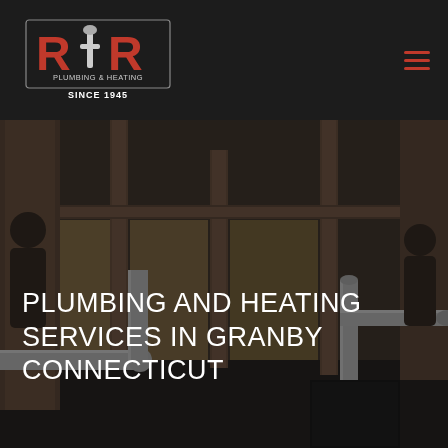[Figure (logo): R&R Plumbing & Heating logo — two red block letters R with a wrench/pipe emblem between them, text 'PLUMBING & HEATING' and 'SINCE 1945' below, on dark background]
[Figure (photo): Construction/plumbing photo showing white PVC pipes running through wooden wall framing studs in a building under construction, with insulation visible. Dark overlay applied.]
PLUMBING AND HEATING SERVICES IN GRANBY CONNECTICUT